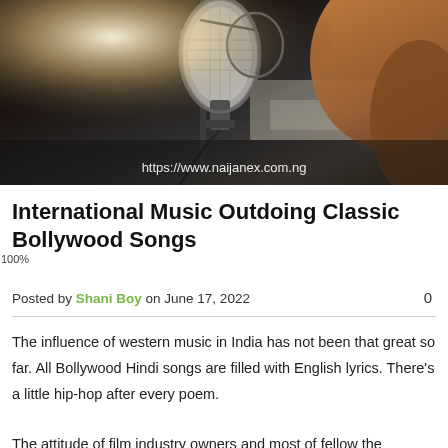[Figure (photo): A woman recording in a music studio, seen from behind/side, with a large condenser microphone in the foreground. URL watermark: https://www.naijanex.com.ng]
International Music Outdoing Classic Bollywood Songs
Posted by Shani Boy on June 17, 2022   0
The influence of western music in India has not been that great so far. All Bollywood Hindi songs are filled with English lyrics. There's a little hip-hop after every poem.
The attitude of film industry owners and most of fellow the